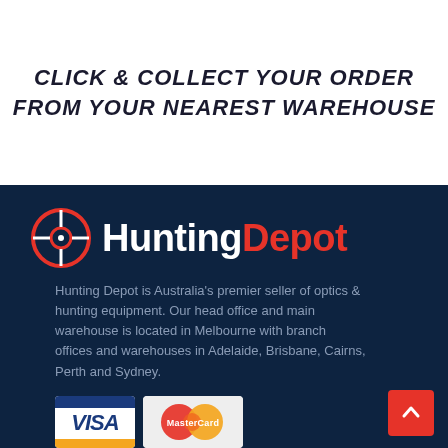CLICK & COLLECT YOUR ORDER FROM YOUR NEAREST WAREHOUSE
[Figure (logo): Hunting Depot logo with crosshair icon and text 'Hunting' in white and 'Depot' in red]
Hunting Depot is Australia’s premier seller of optics & hunting equipment. Our head office and main warehouse is located in Melbourne with branch offices and warehouses in Adelaide, Brisbane, Cairns, Perth and Sydney.
[Figure (illustration): VISA and MasterCard payment method logos]
CUSTOMER CARE
My Account